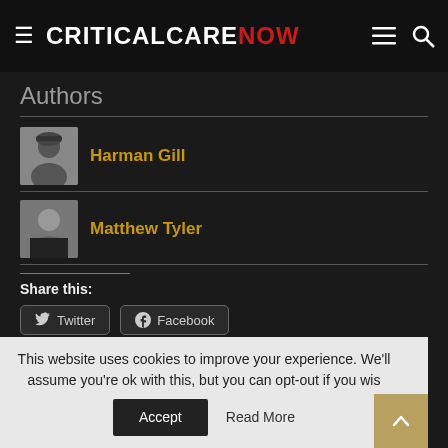CRITICALCARENOW
Authors
Harman Gill
Matthew Tyler
Share this:
Twitter
Facebook
Like this:
This website uses cookies to improve your experience. We'll assume you're ok with this, but you can opt-out if you wish.
Accept
Read More